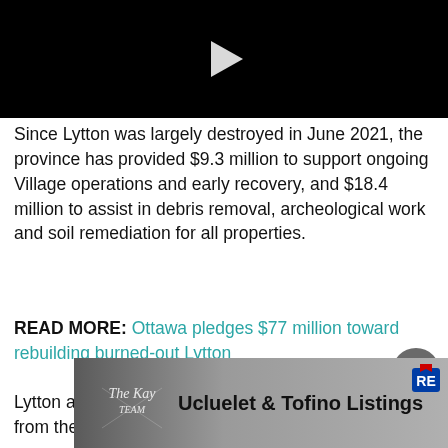[Figure (screenshot): Black video player placeholder with white play button triangle in center]
Since Lytton was largely destroyed in June 2021, the province has provided $9.3 million to support ongoing Village operations and early recovery, and $18.4 million to assist in debris removal, archeological work and soil remediation for all properties.
READ MORE: Ottawa pledges $77 million toward rebuilding burned-out Lytton
Lytton also recently received $77 million in funding from the
[Figure (illustration): Advertisement banner for Ucluelet & Tofino Listings by The Kay Team real estate, with RE/MAX logo]